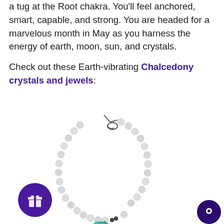a tug at the Root chakra. You'll feel anchored, smart, capable, and strong. You are headed for a marvelous month in May as you harness the energy of earth, moon, sun, and crystals.

Check out these Earth-vibrating Chalcedony crystals and jewels:
[Figure (photo): A chalcedony bead necklace with white/grey round beads and a teal/turquoise pendant, shown with a metal clasp at the top. The necklace is photographed on a white background. A purple gift badge icon is visible in the lower left, and a scroll-up circle button on the right side.]